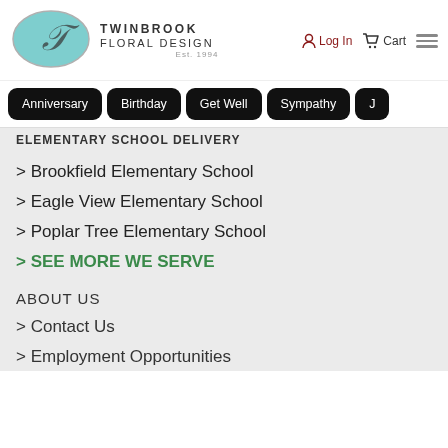[Figure (logo): Twinbrook Floral Design logo with teal oval containing stylized T, brand name and Est. 1994]
Log In   Cart
Anniversary
Birthday
Get Well
Sympathy
ELEMENTARY SCHOOL DELIVERY
> Brookfield Elementary School
> Eagle View Elementary School
> Poplar Tree Elementary School
> SEE MORE WE SERVE
ABOUT US
> Contact Us
> Employment Opportunities